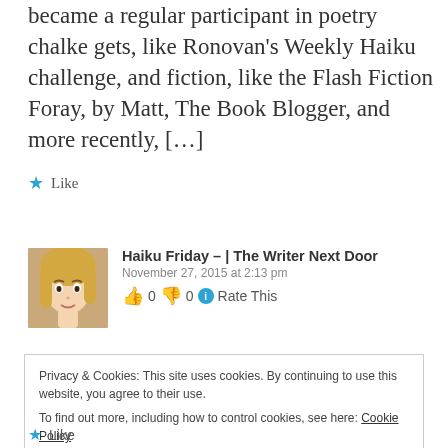became a regular participant in poetry chalke gets, like Ronovan's Weekly Haiku challenge, and fiction, like the Flash Fiction Foray, by Matt, The Book Blogger, and more recently, […]
Like
Haiku Friday – | The Writer Next Door
November 27, 2015 at 2:13 pm
👍 0 👎 0 ℹ Rate This
Privacy & Cookies: This site uses cookies. By continuing to use this website, you agree to their use.
To find out more, including how to control cookies, see here: Cookie Policy
Close and accept
Like